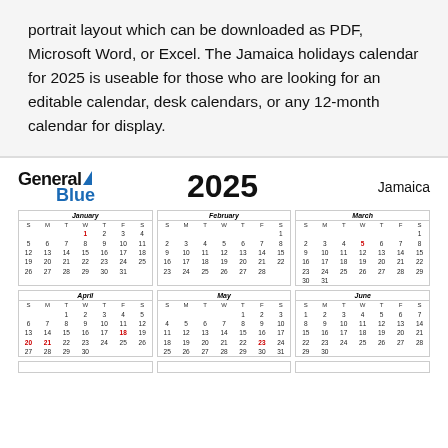portrait layout which can be downloaded as PDF, Microsoft Word, or Excel. The Jamaica holidays calendar for 2025 is useable for those who are looking for an editable calendar, desk calendars, or any 12-month calendar for display.
[Figure (other): GeneralBlue 2025 Jamaica yearly calendar showing months January through June (and partial strip of next row). Each month displayed as a small grid with S M T W T F S headers. Holidays marked in red: Jan 1, Mar 5, Apr 18, Apr 20, Apr 21, May 23.]